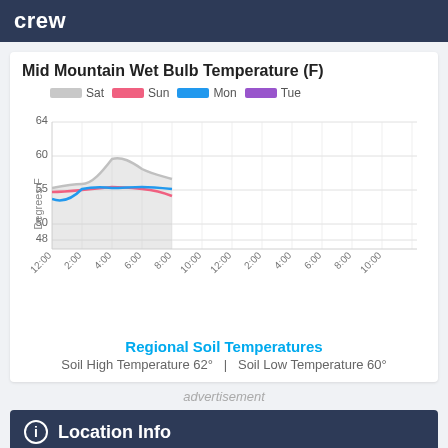crew
[Figure (line-chart): Mid Mountain Wet Bulb Temperature (F)]
Regional Soil Temperatures
Soil High Temperature 62°   |   Soil Low Temperature 60°
advertisement
Location Info